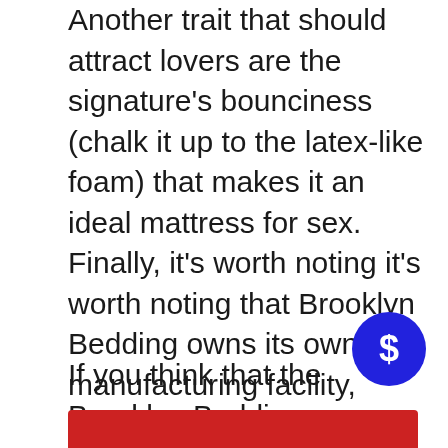Another trait that should attract lovers are the signature's bounciness (chalk it up to the latex-like foam) that makes it an ideal mattress for sex. Finally, it's worth noting it's worth noting that Brooklyn Bedding owns its own manufacturing facility, which means that the brand is able to pass savings to the consumer. This is what makes Brooklyn Bedding's Signature Signature (and any of the products from the brand) a budget-friendly mattress for couples, but one that has an appealing, high-quality feel.
If you think that the Brooklyn Bedding Signature is perfect for you, get our best bargain here!
[Figure (other): Blue circular badge with dollar sign symbol]